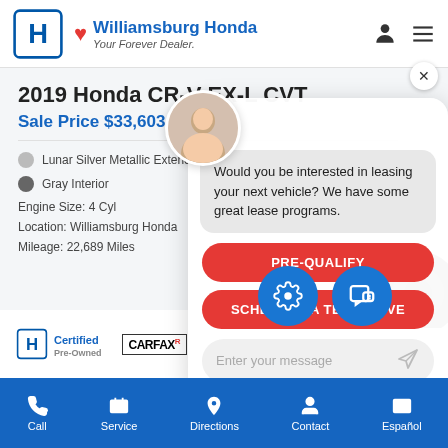Williamsburg Honda — Your Forever Dealer.
2019 Honda CR-V EX-L CVT
Sale Price $33,603
Lunar Silver Metallic Exterior
Gray Interior
Engine Size: 4 Cyl
Location: Williamsburg Honda
Mileage: 22,689 Miles
Would you be interested in leasing your next vehicle? We have some great lease programs.
PRE-QUALIFY
SCHEDULE A TEST DRIVE
Enter your message
[Figure (logo): Honda Certified Pre-Owned badge]
[Figure (logo): CARFAX logo]
Call | Service | Directions | Contact | Español